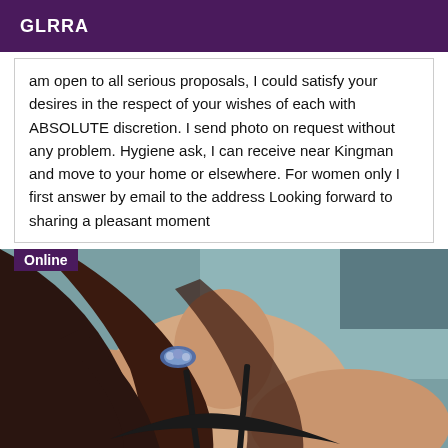GLRRA
am open to all serious proposals, I could satisfy your desires in the respect of your wishes of each with ABSOLUTE discretion. I send photo on request without any problem. Hygiene ask, I can receive near Kingman and move to your home or elsewhere. For women only I first answer by email to the address Looking forward to sharing a pleasant moment
[Figure (photo): A woman in black lingerie photographed from the shoulders/chest up, with dark hair, wearing a decorative necklace against a blurred blue-grey background. An 'Online' badge overlays the top-left corner of the image.]